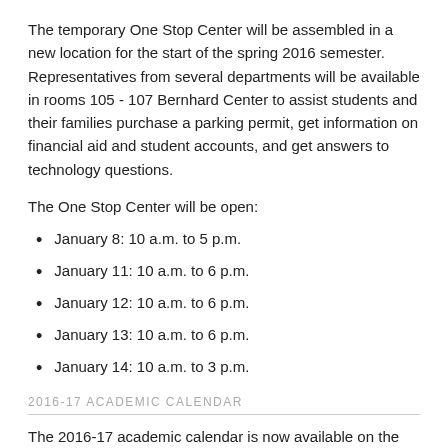The temporary One Stop Center will be assembled in a new location for the start of the spring 2016 semester. Representatives from several departments will be available in rooms 105 - 107 Bernhard Center to assist students and their families purchase a parking permit, get information on financial aid and student accounts, and get answers to technology questions.
The One Stop Center will be open:
January 8: 10 a.m. to 5 p.m.
January 11: 10 a.m. to 6 p.m.
January 12: 10 a.m. to 6 p.m.
January 13: 10 a.m. to 6 p.m.
January 14: 10 a.m. to 3 p.m.
2016-17 ACADEMIC CALENDAR
The 2016-17 academic calendar is now available on the